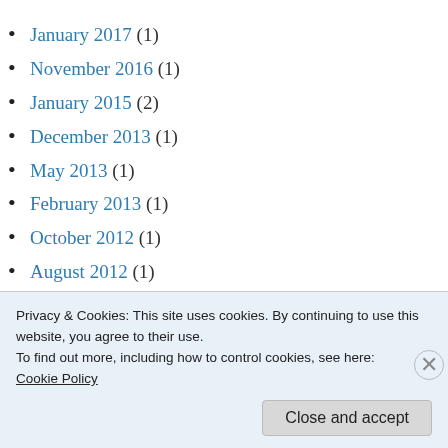January 2017 (1)
November 2016 (1)
January 2015 (2)
December 2013 (1)
May 2013 (1)
February 2013 (1)
October 2012 (1)
August 2012 (1)
July 2012 (1)
January 2012 (1)
Privacy & Cookies: This site uses cookies. By continuing to use this website, you agree to their use.
To find out more, including how to control cookies, see here:
Cookie Policy
Close and accept